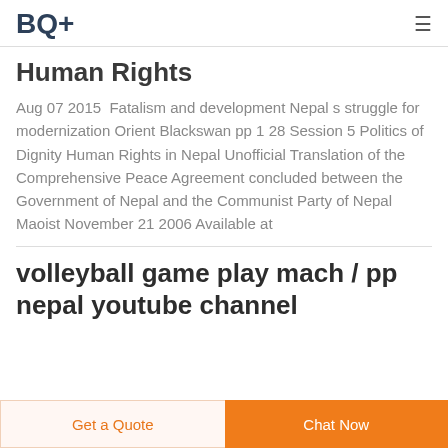BQ+
Human Rights
Aug 07 2015  Fatalism and development Nepal s struggle for modernization Orient Blackswan pp 1 28 Session 5 Politics of Dignity Human Rights in Nepal Unofficial Translation of the Comprehensive Peace Agreement concluded between the Government of Nepal and the Communist Party of Nepal Maoist November 21 2006 Available at
volleyball game play mach / pp nepal youtube channel
Get a Quote  Chat Now